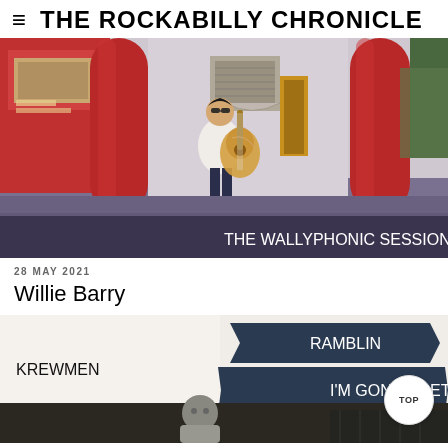THE ROCKABILLY CHRONICLE
[Figure (photo): Album cover photo: A musician in sunglasses and jeans leaning against a large red cylindrical column, playing an acoustic guitar, in front of a retro-style building. Text overlay at bottom reads 'THE WALLYPHONIC SESSIONS'.]
28 MAY 2021
Willie Barry
[Figure (photo): Partial view of a record sleeve showing 'KREWMEN' in bold black text on the left, and 'RAMBLIN / I'M GONNA GET IT' on banner-style dark labels on the right. A person's head/shoulders visible at the bottom center.]